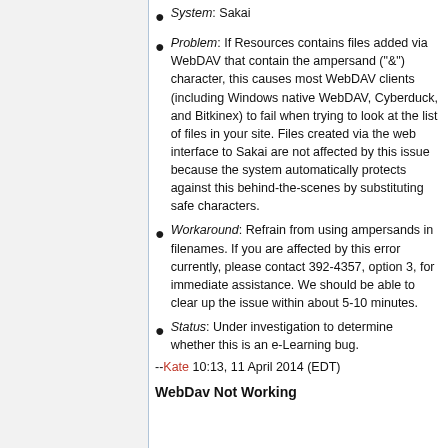System: Sakai
Problem: If Resources contains files added via WebDAV that contain the ampersand ("&") character, this causes most WebDAV clients (including Windows native WebDAV, Cyberduck, and Bitkinex) to fail when trying to look at the list of files in your site. Files created via the web interface to Sakai are not affected by this issue because the system automatically protects against this behind-the-scenes by substituting safe characters.
Workaround: Refrain from using ampersands in filenames. If you are affected by this error currently, please contact 392-4357, option 3, for immediate assistance. We should be able to clear up the issue within about 5-10 minutes.
Status: Under investigation to determine whether this is an e-Learning bug.
--Kate 10:13, 11 April 2014 (EDT)
WebDav Not Working